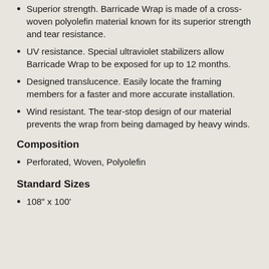Superior strength. Barricade Wrap is made of a cross-woven polyolefin material known for its superior strength and tear resistance.
UV resistance. Special ultraviolet stabilizers allow Barricade Wrap to be exposed for up to 12 months.
Designed translucence. Easily locate the framing members for a faster and more accurate installation.
Wind resistant. The tear-stop design of our material prevents the wrap from being damaged by heavy winds.
Composition
Perforated, Woven, Polyolefin
Standard Sizes
108" x 100'